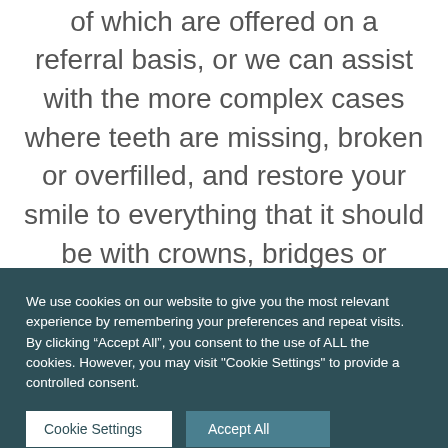or straightening your teeth, both of which are offered on a referral basis, or we can assist with the more complex cases where teeth are missing, broken or overfilled, and restore your smile to everything that it should be with crowns, bridges or implants.
We use cookies on our website to give you the most relevant experience by remembering your preferences and repeat visits. By clicking “Accept All”, you consent to the use of ALL the cookies. However, you may visit "Cookie Settings" to provide a controlled consent.